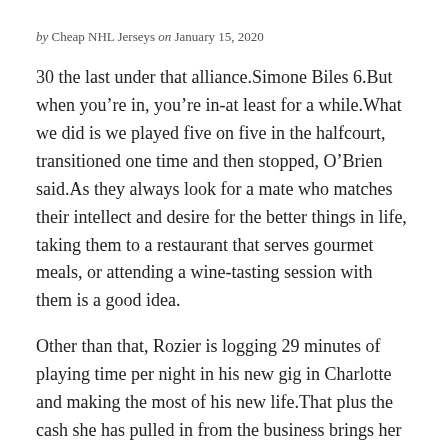by Cheap NHL Jerseys on January 15, 2020
30 the last under that alliance.Simone Biles 6.But when you’re in, you’re in-at least for a while.What we did is we played five on five in the halfcourt, transitioned one time and then stopped, O’Brien said.As they always look for a mate who matches their intellect and desire for the better things in life, taking them to a restaurant that serves gourmet meals, or attending a wine-tasting session with them is a good idea.
Other than that, Rozier is logging 29 minutes of playing time per night in his new gig in Charlotte and making the most of his new life.That plus the cash she has pulled in from the business brings her to billionaire status, Forbes said.Megan Rapinoe 2.That’s now a skill he can summon